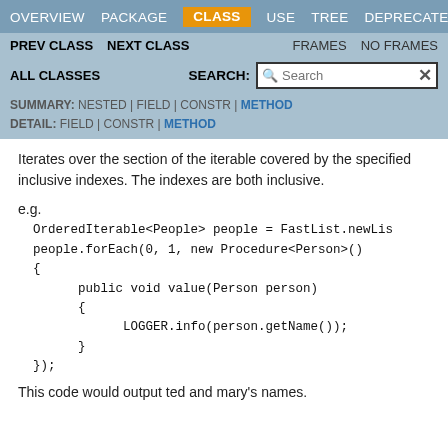OVERVIEW | PACKAGE | CLASS | USE | TREE | DEPRECATED
PREV CLASS | NEXT CLASS | FRAMES | NO FRAMES
ALL CLASSES | SEARCH: | SUMMARY: NESTED | FIELD | CONSTR | METHOD | DETAIL: FIELD | CONSTR | METHOD
Iterates over the section of the iterable covered by the specified inclusive indexes. The indexes are both inclusive.
e.g.
  OrderedIterable<People> people = FastList.newLis
  people.forEach(0, 1, new Procedure<Person>()
  {
        public void value(Person person)
        {
              LOGGER.info(person.getName());
        }
  });
This code would output ted and mary's names.